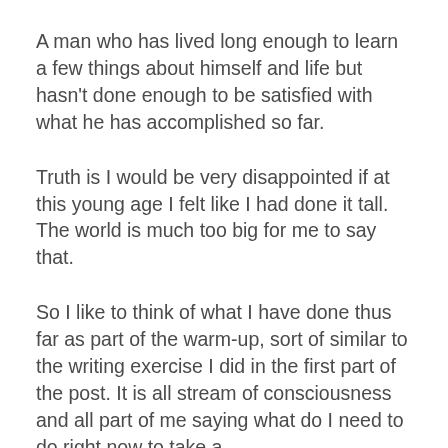A man who has lived long enough to learn a few things about himself and life but hasn't done enough to be satisfied with what he has accomplished so far.
Truth is I would be very disappointed if at this young age I felt like I had done it tall. The world is much too big for me to say that.
So I like to think of what I have done thus far as part of the warm-up, sort of similar to the writing exercise I did in the first part of the post. It is all stream of consciousness and all part of me saying what do I need to do right now to take a